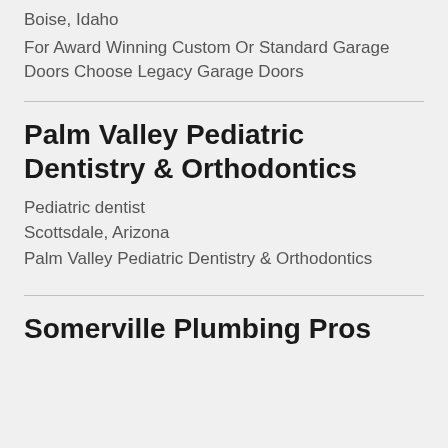Boise, Idaho
For Award Winning Custom Or Standard Garage Doors Choose Legacy Garage Doors
Palm Valley Pediatric Dentistry & Orthodontics
Pediatric dentist
Scottsdale, Arizona
Palm Valley Pediatric Dentistry & Orthodontics
Somerville Plumbing Pros